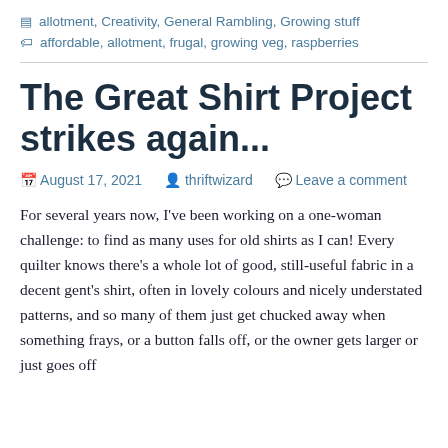allotment, Creativity, General Rambling, Growing stuff
affordable, allotment, frugal, growing veg, raspberries
The Great Shirt Project strikes again...
August 17, 2021   thriftwizard   Leave a comment
For several years now, I've been working on a one-woman challenge: to find as many uses for old shirts as I can! Every quilter knows there's a whole lot of good, still-useful fabric in a decent gent's shirt, often in lovely colours and nicely understated patterns, and so many of them just get chucked away when something frays, or a button falls off, or the owner gets larger or just goes off